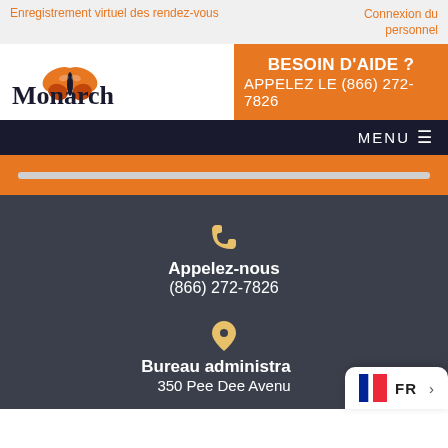Enregistrement virtuel des rendez-vous   Connexion du personnel
[Figure (logo): Monarch logo with butterfly icon]
BESOIN D'AIDE ? APPELEZ LE (866) 272-7826
MENU
Appelez-nous (866) 272-7826
Bureau administratif 350 Pee Dee Avenu
FR >